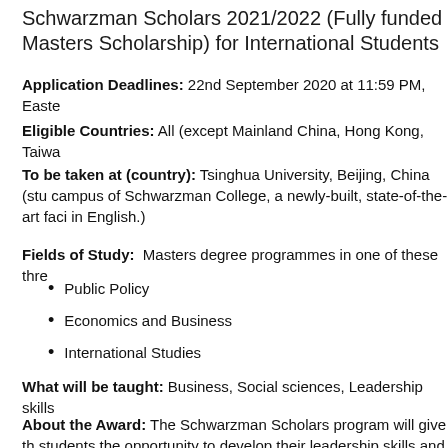Schwarzman Scholars 2021/2022 (Fully funded Masters Scholarship) for International Students
Application Deadlines: 22nd September 2020 at 11:59 PM, Easte
Eligible Countries: All (except Mainland China, Hong Kong, Taiwa
To be taken at (country): Tsinghua University, Beijing, China (stu campus of Schwarzman College, a newly-built, state-of-the-art faci in English.)
Fields of Study: Masters degree programmes in one of these thre
Public Policy
Economics and Business
International Studies
What will be taught: Business, Social sciences, Leadership skills
About the Award: The Schwarzman Scholars program will give th students the opportunity to develop their leadership skills and profe year Master's Degree at Tsinghua University in Beijing – one of Ch With a $350 million endowment, Schwarzman Scholars will be the